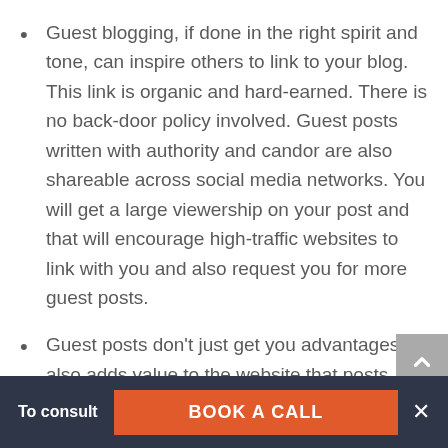Guest blogging, if done in the right spirit and tone, can inspire others to link to your blog. This link is organic and hard-earned. There is no back-door policy involved. Guest posts written with authority and candor are also shareable across social media networks. You will get a large viewership on your post and that will encourage high-traffic websites to link with you and also request you for more guest posts.
Guest posts don't just get you advantages. It also adds value to the website that posts your guest piece. When you write, you have
To consult
BOOK A CALL